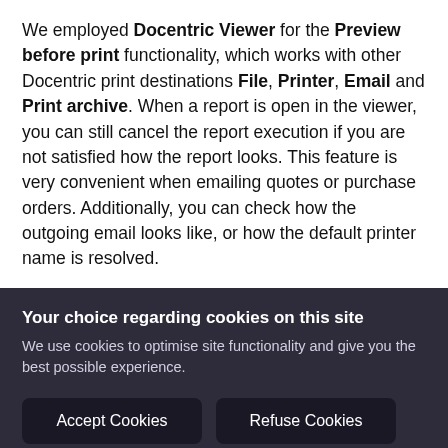We employed Docentric Viewer for the Preview before print functionality, which works with other Docentric print destinations File, Printer, Email and Print archive. When a report is open in the viewer, you can still cancel the report execution if you are not satisfied how the report looks. This feature is very convenient when emailing quotes or purchase orders. Additionally, you can check how the outgoing email looks like, or how the default printer name is resolved.
Your choice regarding cookies on this site
We use cookies to optimise site functionality and give you the best possible experience.
Accept Cookies
Refuse Cookies
Cookie Preferences